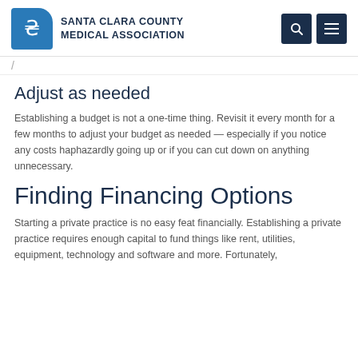SANTA CLARA COUNTY MEDICAL ASSOCIATION
Adjust as needed
Establishing a budget is not a one-time thing. Revisit it every month for a few months to adjust your budget as needed — especially if you notice any costs haphazardly going up or if you can cut down on anything unnecessary.
Finding Financing Options
Starting a private practice is no easy feat financially. Establishing a private practice requires enough capital to fund things like rent, utilities, equipment, technology and software and more. Fortunately,